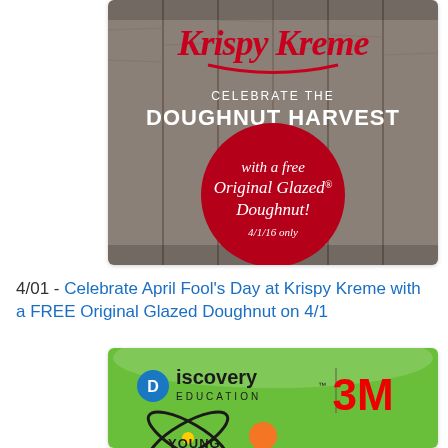[Figure (photo): Krispy Kreme promotional image on wood background: 'CELEBRATE THE DOUGHNUT HARVEST with a free Original Glazed Doughnut! 4/1/16 only']
4/01 - Celebrate April Fool's Day at Krispy Kreme with a FREE Original Glazed Doughnut on 4/1
[Figure (photo): Discovery Education and 3M logo image on green background with science-themed illustration (atom/planet design with 'YOUNG' text visible)]